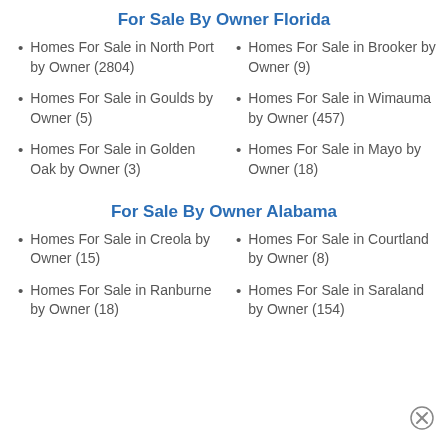For Sale By Owner Florida
Homes For Sale in North Port by Owner (2804)
Homes For Sale in Brooker by Owner (9)
Homes For Sale in Goulds by Owner (5)
Homes For Sale in Wimauma by Owner (457)
Homes For Sale in Golden Oak by Owner (3)
Homes For Sale in Mayo by Owner (18)
For Sale By Owner Alabama
Homes For Sale in Creola by Owner (15)
Homes For Sale in Courtland by Owner (8)
Homes For Sale in Ranburne by Owner (18)
Homes For Sale in Saraland by Owner (154)